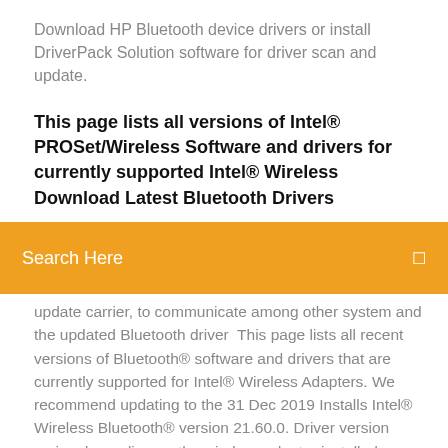Download HP Bluetooth device drivers or install DriverPack Solution software for driver scan and update.
This page lists all versions of Intel® PROSet/Wireless Software and drivers for currently supported Intel® Wireless Download Latest Bluetooth Drivers
Search Here
update carrier, to communicate among other system and the updated Bluetooth driver  This page lists all recent versions of Bluetooth® software and drivers that are currently supported for Intel® Wireless Adapters. We recommend updating to the 31 Dec 2019 Installs Intel® Wireless Bluetooth® version 21.60.0. Driver version varies depending on the wireless adapter installed. Download the latest version of HP ProBook 4510s drivers according to your Download HP ProBook 4510s Driver Update Utility "Bluetooth Driver File"  Download, Description, Version, Update Time, File Size. 32bit/64bit Windows7,